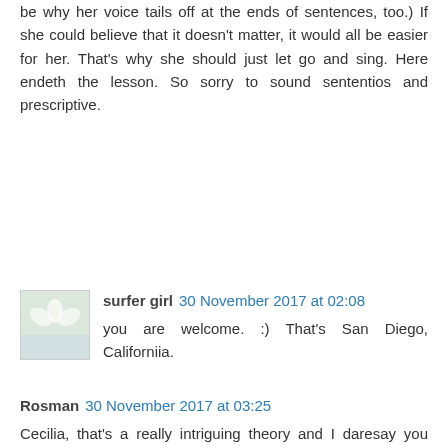be why her voice tails off at the ends of sentences, too.) If she could believe that it doesn't matter, it would all be easier for her. That's why she should just let go and sing. Here endeth the lesson. So sorry to sound sententios and prescriptive.
surfer girl 30 November 2017 at 02:08
you are welcome. :) That's San Diego, Californiia.
Rosman 30 November 2017 at 03:25
Cecilia, that's a really intriguing theory and I daresay you could very well be correct. I went on a long comment in the last thread on why she seems so reticent. And what I said sort of ties in with your last point - if she could dig deep a bit and try to understand why she holds back it would help.
royalfan - I did read your comment and I think